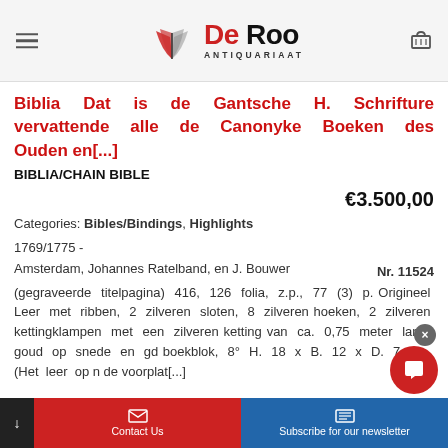De Roo Antiquariaat
Biblia Dat is de Gantsche H. Schrifture vervattende alle de Canonyke Boeken des Ouden en[...]
BIBLIA/CHAIN BIBLE
€3.500,00
Categories: Bibles/Bindings, Highlights
1769/1775 -
Amsterdam, Johannes Ratelband, en J. Bouwer
Nr. 11524
(gegraveerde titelpagina) 416, 126 folia, z.p., 77 (3) p. Origineel Leer met ribben, 2 zilveren sloten, 8 zilveren hoeken, 2 zilveren kettingklampen met een zilveren ketting van ca. 0,75 meter lang, goud op snede en ge...d boekblok, 8° H. 18 x B. 12 x D. 7 cm. (Het leer op d...n de voorplat[...]
Contact Us   Subscribe for our newsletter